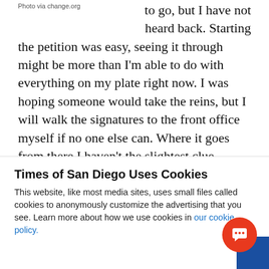Photo via change.org
to go, but I have not heard back. Starting the petition was easy, seeing it through might be more than I'm able to do with everything on my plate right now. I was hoping someone would take the reins, but I will walk the signatures to the front office myself if no one else can. Where it goes from there I haven't the slightest clue.
Other than giving people a chance to vent on a
Times of San Diego Uses Cookies
This website, like most media sites, uses small files called cookies to anonymously customize the advertising that you see. Learn more about how we use cookies in our cookie policy.